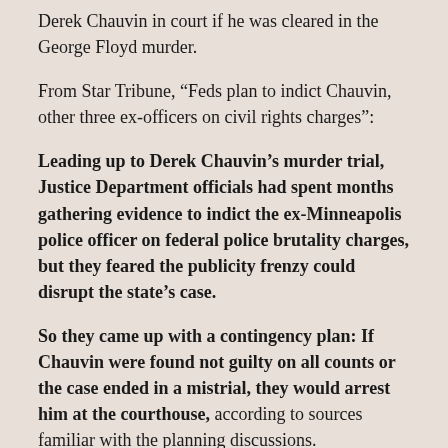Derek Chauvin in court if he was cleared in the George Floyd murder.
From Star Tribune, “Feds plan to indict Chauvin, other three ex-officers on civil rights charges”:
Leading up to Derek Chauvin’s murder trial, Justice Department officials had spent months gathering evidence to indict the ex-Minneapolis police officer on federal police brutality charges, but they feared the publicity frenzy could disrupt the state’s case.
So they came up with a contingency plan: If Chauvin were found not guilty on all counts or the case ended in a mistrial, they would arrest him at the courthouse, according to sources familiar with the planning discussions.